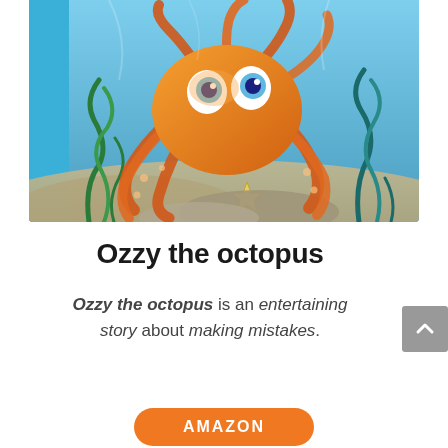[Figure (illustration): Children's book cover illustration showing a cartoon orange octopus with large blue eyes floating underwater, surrounded by blue water, seaweed, and a starfish on the sandy bottom. The left side has a bright blue border/spine.]
Ozzy the octopus
Ozzy the octopus is an entertaining story about making mistakes.
READ MORE
AMAZON